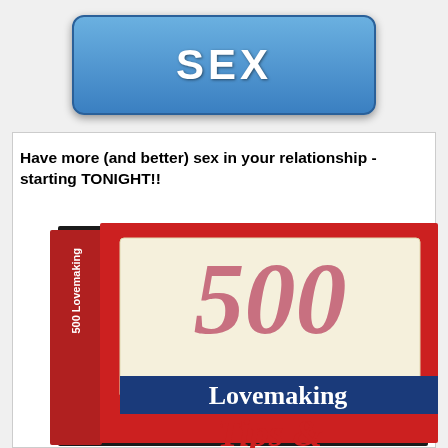[Figure (illustration): Blue rounded rectangle button with white bold text 'SEX']
Have more (and better) sex in your relationship - starting TONIGHT!!
[Figure (photo): Book cover of '500 Lovemaking Tips &' with red cover, cream center panel showing large pink '500' and white 'Lovemaking' text on blue banner, and 'Tips &' in red at bottom]